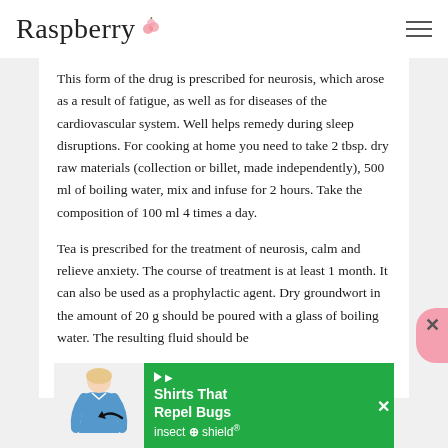Raspberry
This form of the drug is prescribed for neurosis, which arose as a result of fatigue, as well as for diseases of the cardiovascular system. Well helps remedy during sleep disruptions. For cooking at home you need to take 2 tbsp. dry raw materials (collection or billet, made independently), 500 ml of boiling water, mix and infuse for 2 hours. Take the composition of 100 ml 4 times a day.
Tea is prescribed for the treatment of neurosis, calm and relieve anxiety. The course of treatment is at least 1 month. It can also be used as a prophylactic agent. Dry groundwort in the amount of 20 g should be poured with a glass of boiling water. The resulting fluid should be
[Figure (infographic): Advertisement banner: Shirts That Repel Bugs - insect shield, with image of woman in blue shirt and arrow pointing to shirt]